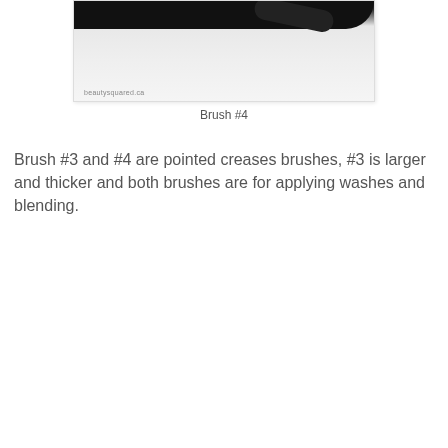[Figure (photo): Close-up photo of a makeup brush (#4) on a white textured surface, showing the black handle and bristle tip. Watermark reads beautysquared.ca]
Brush #4
Brush #3 and #4 are pointed creases brushes, #3 is larger and thicker and both brushes are for applying washes and blending.
[Figure (photo): Close-up photo of a makeup brush with a black handle labeled KDM in pink/purple lettering, held by a finger, with a small rounded bristle tip visible at the right side.]